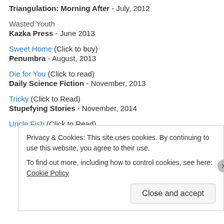Triangulation: Morning After - July, 2012
Wasted Youth
Kazka Press - June 2013
Sweet Home (Click to buy)
Penumbra - August, 2013
Die for You (Click to read)
Daily Science Fiction - November, 2013
Tricky (Click to Read)
Stupefying Stories - November, 2014
Uncle Fish (Click to Read)
Privacy & Cookies: This site uses cookies. By continuing to use this website, you agree to their use. To find out more, including how to control cookies, see here: Cookie Policy
Close and accept